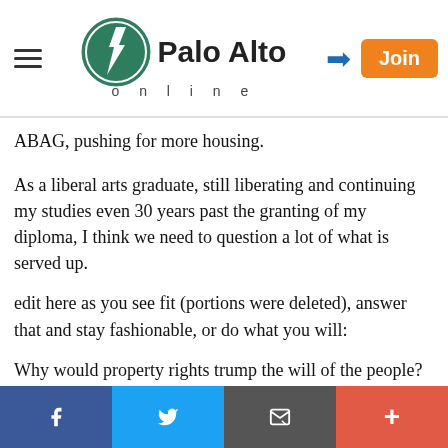Palo Alto online
ABAG, pushing for more housing.
As a liberal arts graduate, still liberating and continuing my studies even 30 years past the granting of my diploma, I think we need to question a lot of what is served up.
edit here as you see fit (portions were deleted), answer that and stay fashionable, or do what you will:
Why would property rights trump the will of the people?
Report Objectionable Content
f  Twitter  email  +